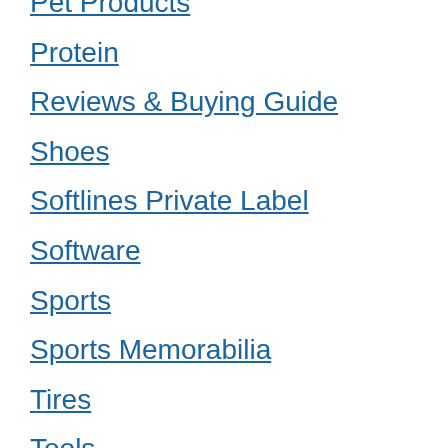Pet Products
Protein
Reviews & Buying Guide
Shoes
Softlines Private Label
Software
Sports
Sports Memorabilia
Tires
Tools
Toy
VDO Devices